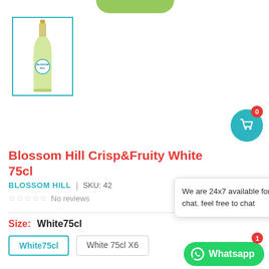[Figure (photo): Thumbnail image of Blossom Hill Crisp & Fruity White wine bottle, selected with teal border]
Blossom Hill Crisp&Fruity White 75cl
BLOSSOM HILL  |  SKU: 42
No reviews
Size: White75cl
We are 24x7 available for chat. feel free to chat
Whatsapp